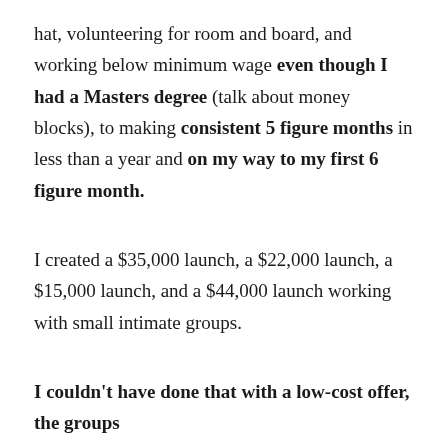hat, volunteering for room and board, and working below minimum wage even though I had a Masters degree (talk about money blocks), to making consistent 5 figure months in less than a year and on my way to my first 6 figure month.
I created a $35,000 launch, a $22,000 launch, a $15,000 launch, and a $44,000 launch working with small intimate groups.
I couldn't have done that with a low-cost offer, the groups